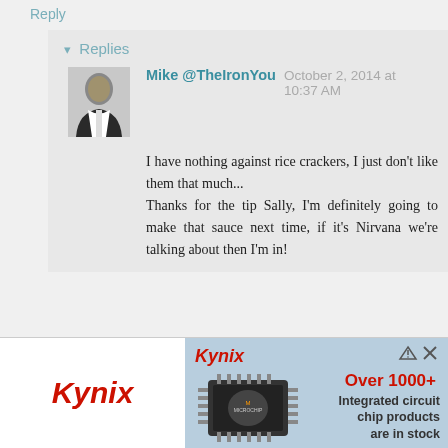Reply
▾ Replies
Mike @TheIronYou   October 2, 2014 at 10:37 AM
I have nothing against rice crackers, I just don't like them that much...
Thanks for the tip Sally, I'm definitely going to make that sauce next time, if it's Nirvana we're talking about then I'm in!
Reply
[Figure (screenshot): Kynix advertisement banner showing Kynix logo on left white panel and right blue panel with chip image, text 'Over 1000+ Integrated circuit chip products are in stock']